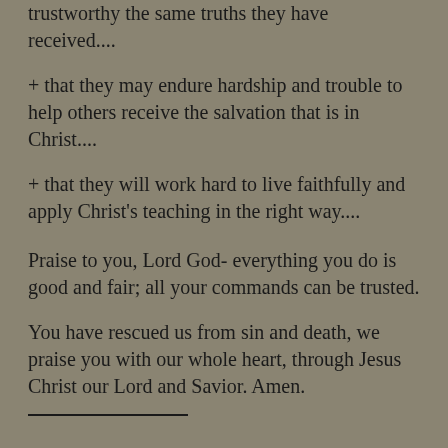+ that they may teach others who are trustworthy the same truths they have received....
+ that they may endure hardship and trouble to help others receive the salvation that is in Christ....
+ that they will work hard to live faithfully and apply Christ’s teaching in the right way....
Praise to you, Lord God- everything you do is good and fair; all your commands can be trusted.
You have rescued us from sin and death, we praise you with our whole heart, through Jesus Christ our Lord and Savior. Amen.